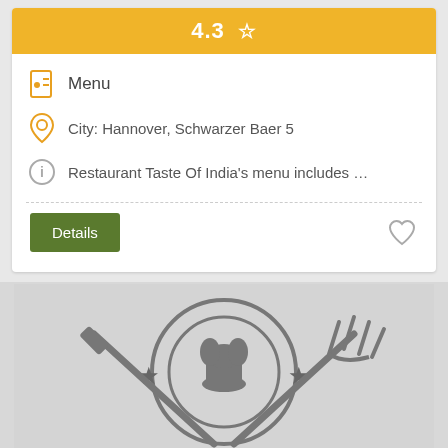4.3 ☆
Menu
City: Hannover, Schwarzer Baer 5
Restaurant Taste Of India's menu includes …
Details
[Figure (logo): Restaurant logo with chef hat, knife and fork, and stars on grey background]
Your experience on this site will be improved by allowing cookies.
Allow Cookies